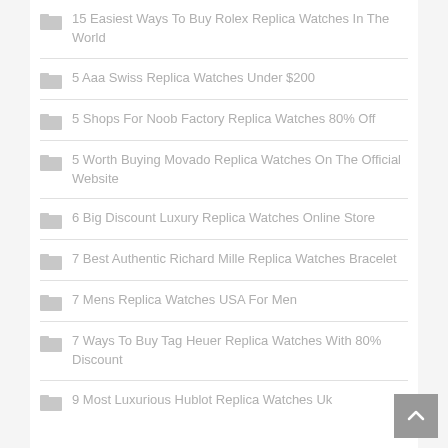15 Easiest Ways To Buy Rolex Replica Watches In The World
5 Aaa Swiss Replica Watches Under $200
5 Shops For Noob Factory Replica Watches 80% Off
5 Worth Buying Movado Replica Watches On The Official Website
6 Big Discount Luxury Replica Watches Online Store
7 Best Authentic Richard Mille Replica Watches Bracelet
7 Mens Replica Watches USA For Men
7 Ways To Buy Tag Heuer Replica Watches With 80% Discount
9 Most Luxurious Hublot Replica Watches Uk